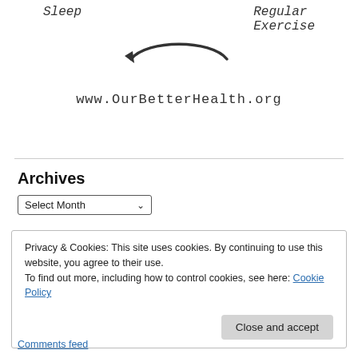[Figure (illustration): Hand-drawn sketch showing 'Sleep' and 'Regular Exercise' labels with a curved arrow and the URL www.OurBetterHealth.org below]
Archives
Select Month
Privacy & Cookies: This site uses cookies. By continuing to use this website, you agree to their use.
To find out more, including how to control cookies, see here: Cookie Policy
Close and accept
Comments feed